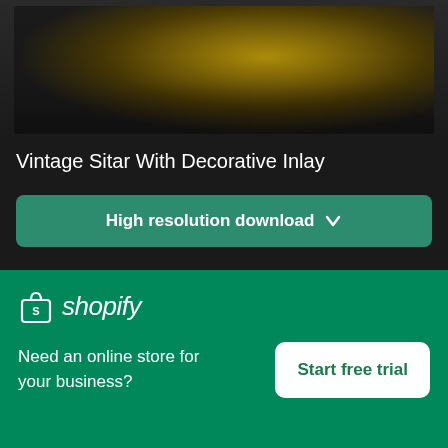[Figure (photo): Partial view of a vintage sitar with decorative inlay, dark background]
Vintage Sitar With Decorative Inlay
High resolution download ↓
[Figure (photo): Blurred photo with warm brown and pink tones, partial view]
[Figure (logo): Shopify logo — shopping bag icon with 'shopify' italic text in white]
Need an online store for your business?
Start free trial